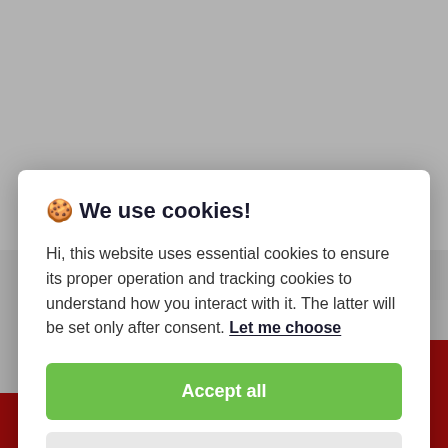[Figure (screenshot): Background UI with Tags icon and label, Comments icon and label, and red bottom strip.]
🍪 We use cookies!
Hi, this website uses essential cookies to ensure its proper operation and tracking cookies to understand how you interact with it. The latter will be set only after consent. Let me choose
Accept all
Reject all